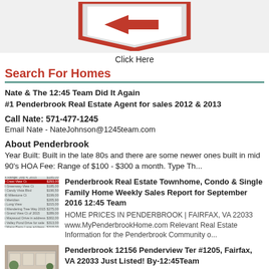[Figure (illustration): Red and white real estate style sign graphic with arrow, cropped at top]
Click Here
Search For Homes
Nate & The 12:45 Team Did It Again
#1 Penderbrook Real Estate Agent for sales 2012 & 2013
Call Nate: 571-477-1245
Email Nate - NateJohnson@1245team.com
About Penderbrook
Year Built: Built in the late 80s and there are some newer ones built in mid 90's HOA Fee: Range of $100 - $300 a month. Type Th...
[Figure (table-as-image): Thumbnail image of a real estate sales report table]
Penderbrook Real Estate Townhome, Condo & Single Family Home Weekly Sales Report for September 2016 12:45 Team
HOME PRICES IN PENDERBROOK | FAIRFAX, VA 22033 www.MyPenderbrookHome.com Relevant Real Estate Information for the Penderbrook Community o...
[Figure (photo): Thumbnail photo of a Penderbrook building/home exterior]
Penderbrook 12156 Penderview Ter #1205, Fairfax, VA 22033 Just Listed! By-12:45Team
12156 Penderview Ter #1205, Fairfax, VA 22033 ... Exclusively...